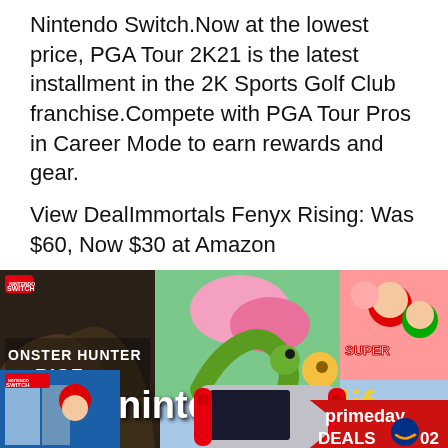Nintendo Switch.Now at the lowest price, PGA Tour 2K21 is the latest installment in the 2K Sports Golf Club franchise.Compete with PGA Tour Pros in Career Mode to earn rewards and gear.
View DealImmortals Fenyx Rising: Was $60, Now $30 at Amazon
[Figure (photo): Nintendo Switch game cases including Monster Hunter Rise and Super Mario Odyssey, with a Nintendo Switch console, overlaid with Nintendo Life branding and a red Prime Day Deals 2021 banner.]